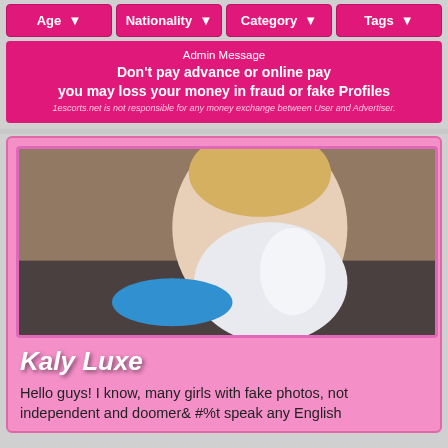Age  ∨   Nationality  ∨   Category  ∨   Tags  ∨
Admin Message
Don't pay advance or online pay
you may loss your money in fraud or fake Profiles
1escorts.net is not responsible for any money exchange between User and Advertiser.
[Figure (photo): Blonde woman posing on a blue object on the floor, wearing white shiny pants and heels]
Kaly Luxe
Hello guys! I know, many girls with fake photos, not independent and doomer& #%t speak any English